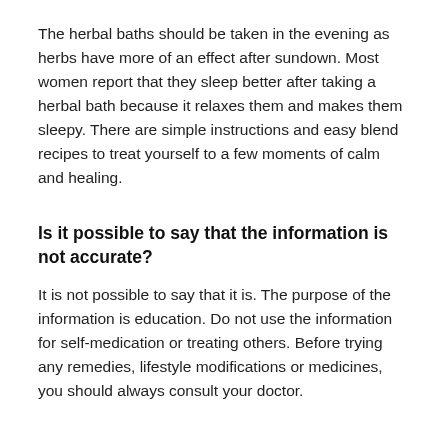The herbal baths should be taken in the evening as herbs have more of an effect after sundown. Most women report that they sleep better after taking a herbal bath because it relaxes them and makes them sleepy. There are simple instructions and easy blend recipes to treat yourself to a few moments of calm and healing.
Is it possible to say that the information is not accurate?
It is not possible to say that it is. The purpose of the information is education. Do not use the information for self-medication or treating others. Before trying any remedies, lifestyle modifications or medicines, you should always consult your doctor.